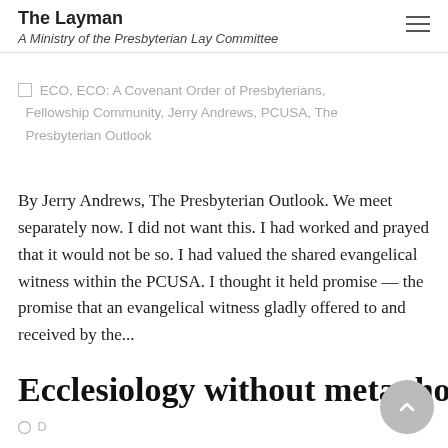The Layman
A Ministry of the Presbyterian Lay Committee
ECO, ECO: A Covenant Order of Presbyterians, Fellowship Community, Jerry Andrews, PCUSA, The Presbyterian Outlook
By Jerry Andrews, The Presbyterian Outlook. We meet separately now. I did not want this. I had worked and prayed that it would not be so. I had valued the shared evangelical witness within the PCUSA. I thought it held promise — the promise that an evangelical witness gladly offered to and received by the...
Ecclesiology without metaphor